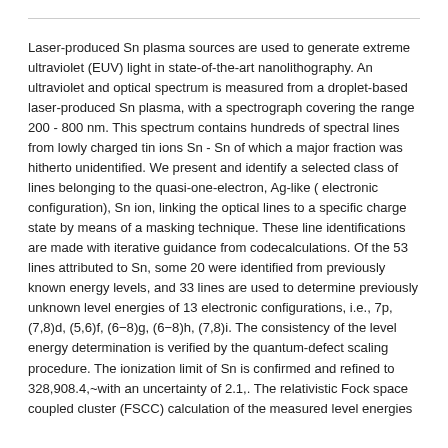Laser-produced Sn plasma sources are used to generate extreme ultraviolet (EUV) light in state-of-the-art nanolithography. An ultraviolet and optical spectrum is measured from a droplet-based laser-produced Sn plasma, with a spectrograph covering the range 200 - 800 nm. This spectrum contains hundreds of spectral lines from lowly charged tin ions Sn - Sn of which a major fraction was hitherto unidentified. We present and identify a selected class of lines belonging to the quasi-one-electron, Ag-like ( electronic configuration), Sn ion, linking the optical lines to a specific charge state by means of a masking technique. These line identifications are made with iterative guidance from codecalculations. Of the 53 lines attributed to Sn, some 20 were identified from previously known energy levels, and 33 lines are used to determine previously unknown level energies of 13 electronic configurations, i.e., 7p, (7,8)d, (5,6)f, (6−8)g, (6−8)h, (7,8)i. The consistency of the level energy determination is verified by the quantum-defect scaling procedure. The ionization limit of Sn is confirmed and refined to 328,908.4,~with an uncertainty of 2.1,. The relativistic Fock space coupled cluster (FSCC) calculation of the measured level energies